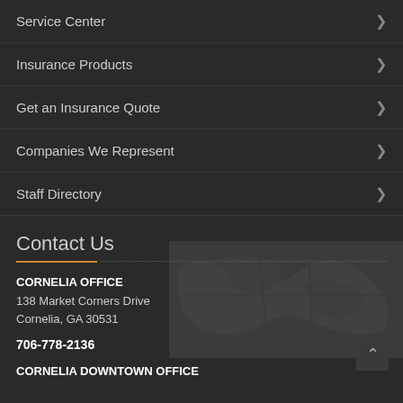Service Center
Insurance Products
Get an Insurance Quote
Companies We Represent
Staff Directory
Contact Us
CORNELIA OFFICE
138 Market Corners Drive
Cornelia, GA 30531
706-778-2136
CORNELIA DOWNTOWN OFFICE